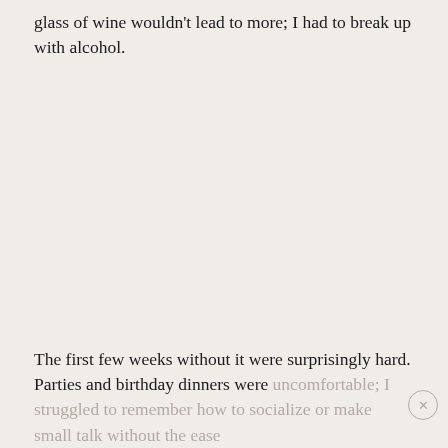glass of wine wouldn't lead to more; I had to break up with alcohol.
The first few weeks without it were surprisingly hard. Parties and birthday dinners were uncomfortable; I struggled to remember how to socialize or make small talk without the ease